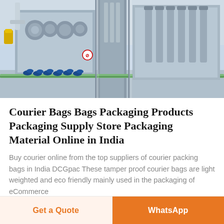[Figure (photo): Industrial packaging/bottling machinery in a factory setting — stainless steel filling machines with blue bottle caps on a conveyor line, viewed through glass panels.]
Courier Bags Bags Packaging Products Packaging Supply Store Packaging Material Online in India
Buy courier online from the top suppliers of courier packing bags in India DCGpac These tamper proof courier bags are light weighted and eco friendly mainly used in the packaging of eCommerce
Get a Quote
WhatsApp